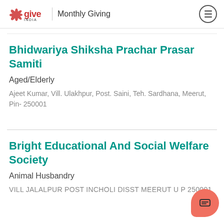give India | Monthly Giving
Bhidwariya Shiksha Prachar Prasar Samiti
Aged/Elderly
Ajeet Kumar, Vill. Ulakhpur, Post. Saini, Teh. Sardhana, Meerut, Pin- 250001
Bright Educational And Social Welfare Society
Animal Husbandry
VILL JALALPUR POST INCHOLI DISST MEERUT U P 250001